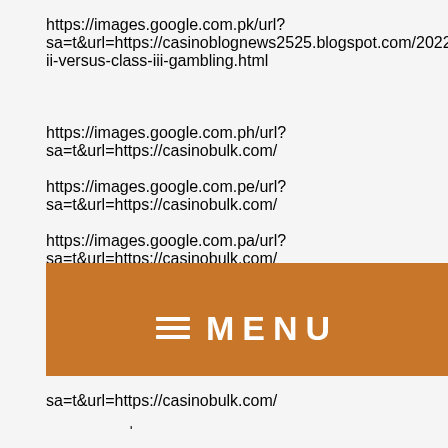https://images.google.com.pk/url?sa=t&url=https://casinoblognews2525.blogspot.com/2022/07/c ii-versus-class-iii-gambling.html
https://images.google.com.ph/url?sa=t&url=https://casinobulk.com/
https://images.google.com.pe/url?sa=t&url=https://casinobulk.com/
https://images.google.com.pa/url?sa=t&url=https://casinobulk.com/
https://images.google.com.om/url?sa=t&url=https://casinobulk.com/
https://images.google.com.np/url?sa=t&url=https://casinobulk.com/
https://images.google.com.ni/url?sa=t&url=https://casinobulk.com/
https://images.google.com.ng/url?sa=t&url=https://casinobulk.com/
[Figure (other): Orange navigation menu bar with hamburger icon and MENU text]
sa=t&url=https://casinobulk.com/